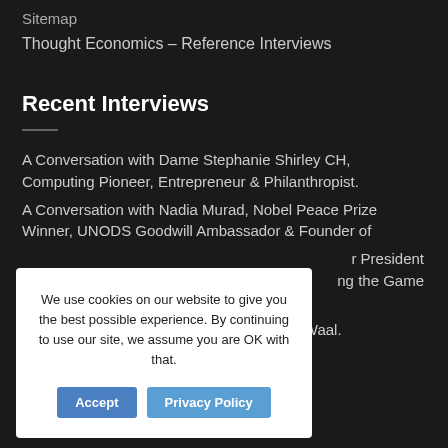Sitemap
Thought Economics – Reference Interviews
Recent Interviews
A Conversation with Dame Stephanie Shirley CH, Computing Pioneer, Entrepreneur & Philanthropist.
A Conversation with Nadia Murad, Nobel Peace Prize Winner, UNODS Goodwill Ambassador & Founder of
…r President …ng the Game
…r. A Conversation with Primatologist, Frans de Waal.
We use cookies on our website to give you the best possible experience. By continuing to use our site, we assume you are OK with that.